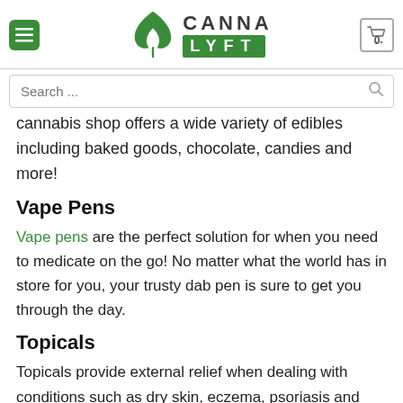[Figure (logo): CannaLyft logo with green leaf icon, CANNA text above green LYFT box]
[Figure (screenshot): Search bar with placeholder text 'Search ...' and magnifying glass icon]
cannabis shop offers a wide variety of edibles including baked goods, chocolate, candies and more!
Vape Pens
Vape pens are the perfect solution for when you need to medicate on the go! No matter what the world has in store for you, your trusty dab pen is sure to get you through the day.
Topicals
Topicals provide external relief when dealing with conditions such as dry skin, eczema, psoriasis and more. Topicals get their effectiveness by activating cannabinoid...